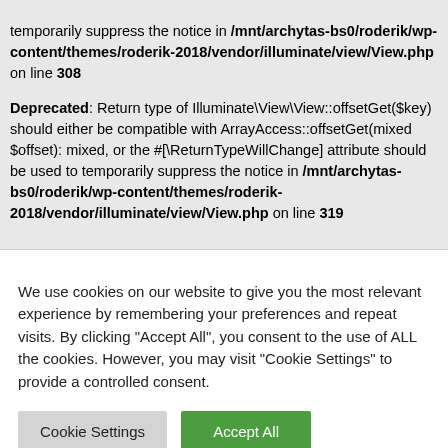temporarily suppress the notice in /mnt/archytas-bs0/roderik/wp-content/themes/roderik-2018/vendor/illuminate/view/View.php on line 308
Deprecated: Return type of Illuminate\View\View::offsetGet($key) should either be compatible with ArrayAccess::offsetGet(mixed $offset): mixed, or the #[\ReturnTypeWillChange] attribute should be used to temporarily suppress the notice in /mnt/archytas-bs0/roderik/wp-content/themes/roderik-2018/vendor/illuminate/view/View.php on line 319
We use cookies on our website to give you the most relevant experience by remembering your preferences and repeat visits. By clicking "Accept All", you consent to the use of ALL the cookies. However, you may visit "Cookie Settings" to provide a controlled consent.